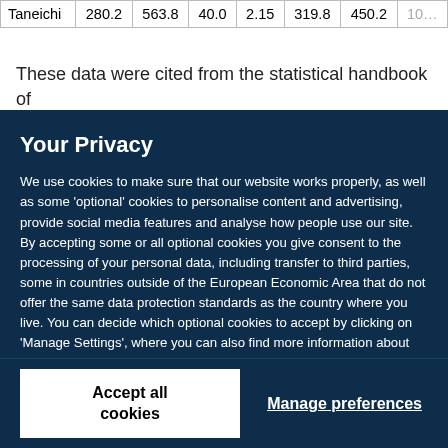| Taneichi | 280.2 | 563.8 | 40.0 | 2.15 | 319.8 | 450.2 | 10… |
These data were cited from the statistical handbook of Iwate of each year.
Your Privacy
We use cookies to make sure that our website works properly, as well as some 'optional' cookies to personalise content and advertising, provide social media features and analyse how people use our site. By accepting some or all optional cookies you give consent to the processing of your personal data, including transfer to third parties, some in countries outside of the European Economic Area that do not offer the same data protection standards as the country where you live. You can decide which optional cookies to accept by clicking on 'Manage Settings', where you can also find more information about how your personal data is processed. Further information can be found in our privacy policy.
Accept all cookies
Manage preferences